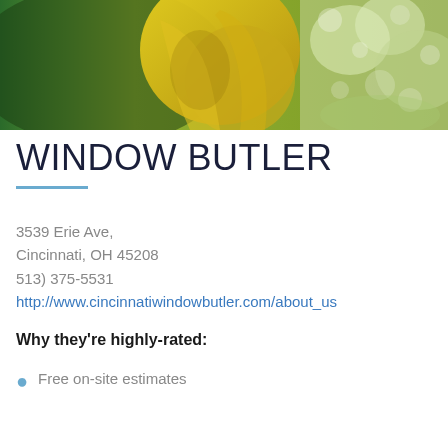[Figure (photo): A person wearing a yellow rubber glove cleaning a window with soapy water and a squeegee, green background visible]
WINDOW BUTLER
3539 Erie Ave,
Cincinnati, OH 45208
513) 375-5531
http://www.cincinnatiwindowbutler.com/about_us
Why they’re highly-rated:
Free on-site estimates